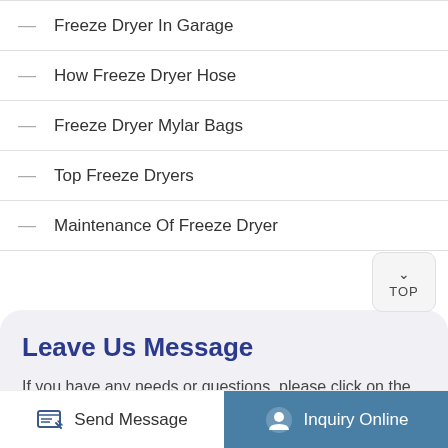Freeze Dryer In Garage
How Freeze Dryer Hose
Freeze Dryer Mylar Bags
Top Freeze Dryers
Maintenance Of Freeze Dryer
Leave Us Message
If you have any needs or questions, please click on the consultation or leave a message, we will reply to you as soon as we receive it!
Send Message
Inquiry Online